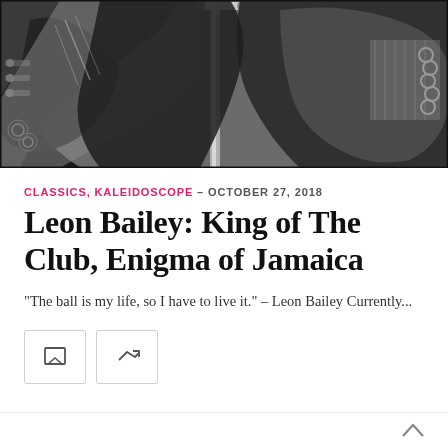[Figure (illustration): Grayscale stylized illustration of close-up abstract figurative artwork, featuring bold black, gray and white shapes suggesting a person with mechanical or organic elements in the background.]
CLASSICS, KALEIDOSCOPE – OCTOBER 27, 2018
Leon Bailey: King of The Club, Enigma of Jamaica
"The ball is my life, so I have to live it." – Leon Bailey Currently...